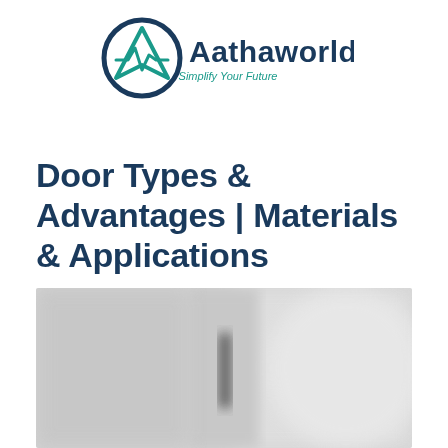[Figure (logo): Aathaworld logo: circular navy blue outline with teal triangle/checkmark symbol inside, beside dark blue bold text 'Aathaworld' and teal italic tagline 'Simplify Your Future']
Door Types & Advantages | Materials & Applications
[Figure (photo): Blurred/out-of-focus photo of a modern interior door with a dark vertical handle bar, set in a light grey/white room. The door appears white or light colored with a sleek dark pull handle in the center.]